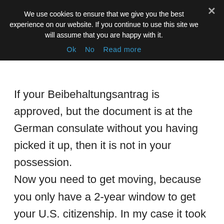We use cookies to ensure that we give you the best experience on our website. If you continue to use this site we will assume that you are happy with it.
Ok   No   Read more
If your Beibehaltungsantrag is approved, but the document is at the German consulate without you having picked it up, then it is not in your possession. Now you need to get moving, because you only have a 2-year window to get your U.S. citizenship. In my case it took exactly 1 year from filing the application to the oath ceremony.